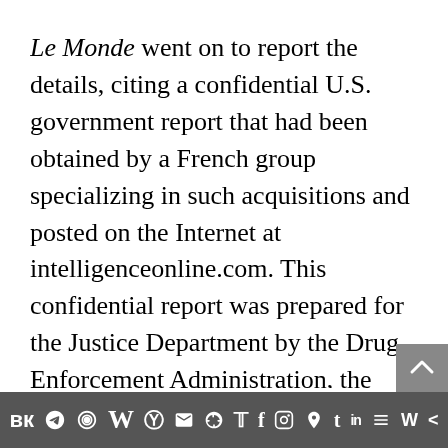Le Monde went on to report the details, citing a confidential U.S. government report that had been obtained by a French group specializing in such acquisitions and posted on the Internet at intelligenceonline.com. This confidential report was prepared for the Justice Department by the Drug Enforcement Administration, the Immigration and Naturalization Service, the FBI, and the Air Force, and the copy of the report used by Le Monde has been declared authentic by the Drug Enforcement Administration. The report details the suspicious activities of a number of young Israelis in the United States, some of them
social media share icons bar